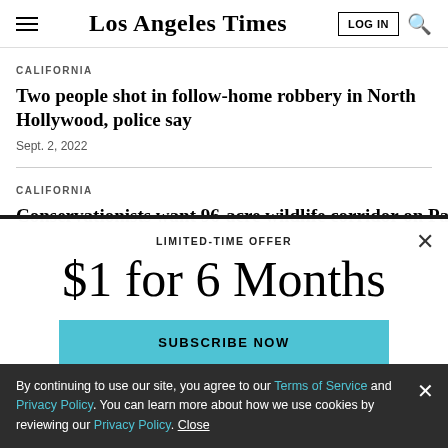Los Angeles Times
CALIFORNIA
Two people shot in follow-home robbery in North Hollywood, police say
Sept. 2, 2022
CALIFORNIA
Conservationists want 96-acre wildlife corridor on Palos...
LIMITED-TIME OFFER
$1 for 6 Months
SUBSCRIBE NOW
By continuing to use our site, you agree to our Terms of Service and Privacy Policy. You can learn more about how we use cookies by reviewing our Privacy Policy. Close